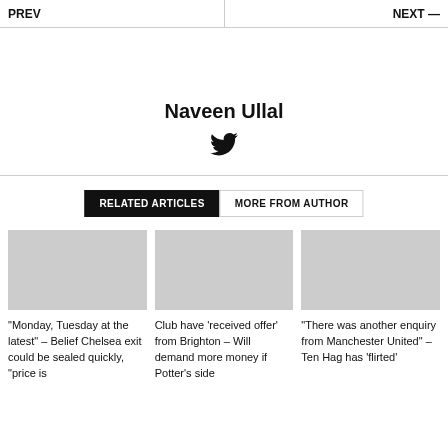PREV  |  NEXT
Naveen Ullal
[Figure (illustration): Twitter bird icon]
RELATED ARTICLES   MORE FROM AUTHOR
[Figure (photo): Article image placeholder 1]
[Figure (photo): Article image placeholder 2]
[Figure (photo): Article image placeholder 3]
"Monday, Tuesday at the latest" – Belief Chelsea exit could be sealed quickly, "price is
Club have 'received offer' from Brighton – Will demand more money if Potter's side
"There was another enquiry from Manchester United" – Ten Hag has 'flirted'